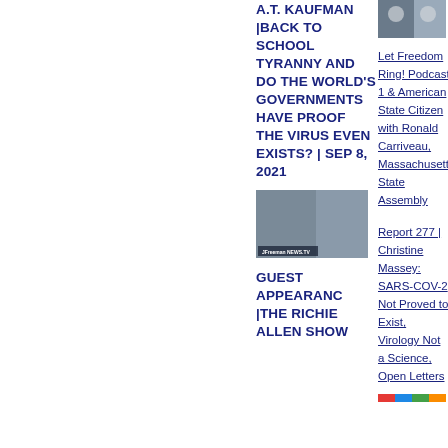A.T. KAUFMAN |BACK TO SCHOOL TYRANNY AND DO THE WORLD'S GOVERNMENTS HAVE PROOF THE VIRUS EVEN EXISTS? | SEP 8, 2021
[Figure (photo): Thumbnail image of two people for Let Freedom Ring podcast]
Let Freedom Ring! Podcast 1 & American State Citizen with Ronald Carriveau, Massachusetts State Assembly
[Figure (photo): Thumbnail image from JFreeman NEWS.TV showing two people]
Report 277 | Christine Massey: SARS-COV-2 Not Proved to Exist, Virology Not a Science, Open Letters
GUEST APPEARANCE | THE RICHIE ALLEN SHOW